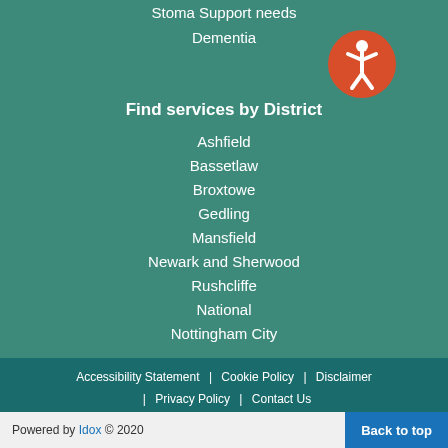Stoma Support needs
Dementia
[Figure (illustration): Orange circle with white accessibility person icon]
Find services by District
Ashfield
Bassetlaw
Broxtowe
Gedling
Mansfield
Newark and Sherwood
Rushcliffe
National
Nottingham City
Accessibility Statement | Cookie Policy | Disclaimer | Privacy Policy | Contact Us
Copyright © Nottinghamshire County Council
Powered by Idox © 2020